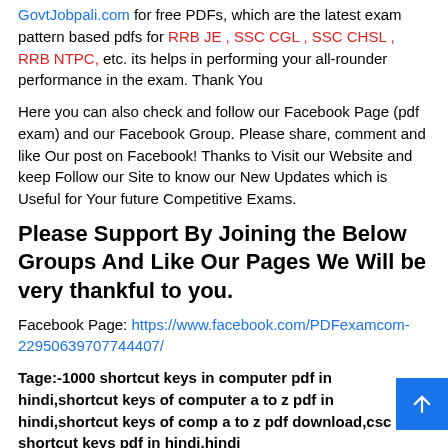GovtJobpali.com for free PDFs, which are the latest exam pattern based pdfs for RRB JE , SSC CGL , SSC CHSL , RRB NTPC, etc. its helps in performing your all-rounder performance in the exam. Thank You
Here you can also check and follow our Facebook Page (pdf exam) and our Facebook Group. Please share, comment and like Our post on Facebook! Thanks to Visit our Website and keep Follow our Site to know our New Updates which is Useful for Your future Competitive Exams.
Please Support By Joining the Below Groups And Like Our Pages We Will be very thankful to you.
Facebook Page: https://www.facebook.com/PDFexamcom-22950639707744407/
Tage:-1000 shortcut keys in computer pdf in hindi,shortcut keys of computer a to z pdf in hindi,shortcut keys of comp a to z pdf download,csc shortcut keys pdf in hindi,hindi